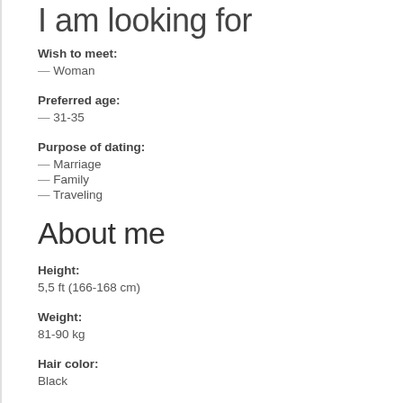I am looking for
Wish to meet:
— Woman
Preferred age:
— 31-35
Purpose of dating:
— Marriage
— Family
— Traveling
About me
Height:
5,5 ft (166-168 cm)
Weight:
81-90 kg
Hair color:
Black